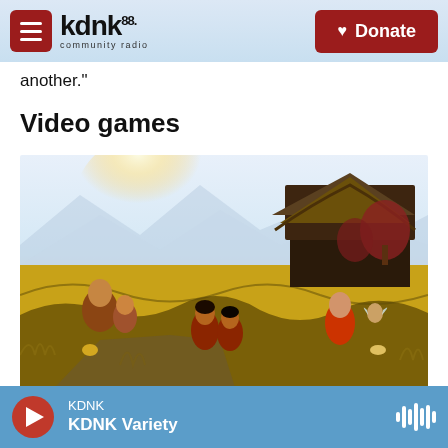KDNK 88.1 Community Radio — Donate
another."
Video games
[Figure (photo): Video game screenshot showing animated children and villagers running through tall golden grass fields near a thatched-roof farmhouse under a bright sun; warm cinematic lighting; style suggests a farming simulation or adventure game.]
/ XSEED Games, Marvelous USA, Inc. / XSEED Games, Marvelous USA, Inc.
KDNK — KDNK Variety